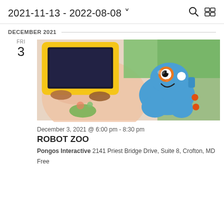2021-11-13 - 2022-08-08
DECEMBER 2021
FRI
3
[Figure (photo): A child using a yellow-cased tablet device, with a blue Dash robot on a colorful illustrated mat in the foreground.]
December 3, 2021 @ 6:00 pm - 8:30 pm
ROBOT ZOO
Pongos Interactive 2141 Priest Bridge Drive, Suite 8, Crofton, MD
Free